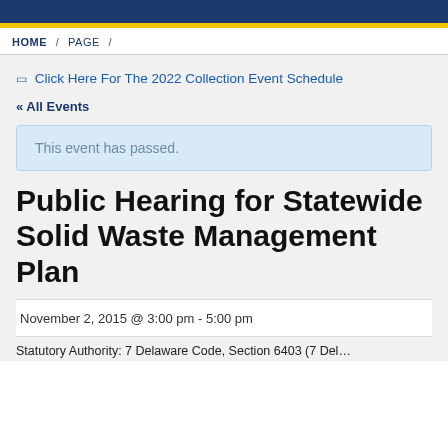HOME / PAGE /
🔲 Click Here For The 2022 Collection Event Schedule
« All Events
This event has passed.
Public Hearing for Statewide Solid Waste Management Plan
November 2, 2015 @ 3:00 pm - 5:00 pm
Statutory Authority: 7 Delaware Code, Section 6403 (7 Del…